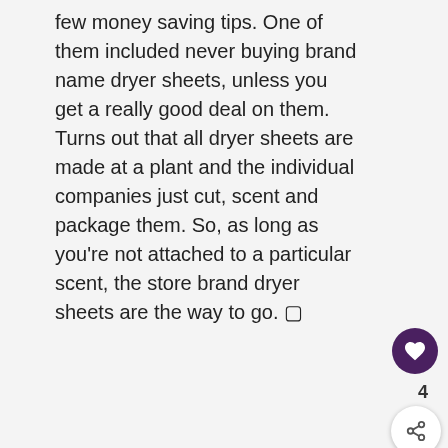few money saving tips. One of them included never buying brand name dryer sheets, unless you get a really good deal on them. Turns out that all dryer sheets are made at a plant and the individual companies just cut, scent and package them. So, as long as you're not attached to a particular scent, the store brand dryer sheets are the way to go. 🔲
Reply
WHAT'S NEXT → Amazon Coupons for...
[Figure (photo): Advertisement banner with hands forming a heart shape against a green background, text reads LOVE > HATE]